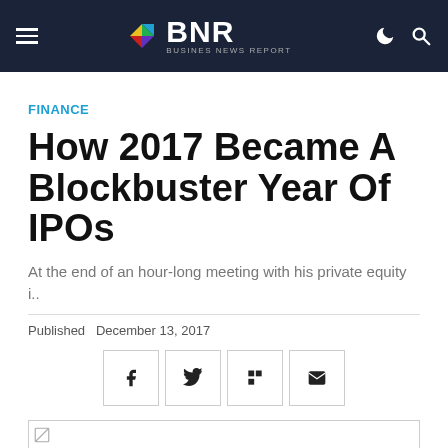BNR BUSINES NEWS REPORT
FINANCE
How 2017 Became A Blockbuster Year Of IPOs
At the end of an hour-long meeting with his private equity i..
Published  December 13, 2017
[Figure (other): Social share buttons: Facebook, Twitter, Flipboard, Email]
[Figure (photo): Article image placeholder (broken image icon)]